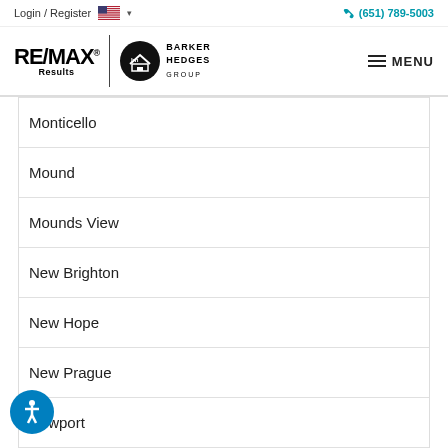Login / Register  (651) 789-5003
[Figure (logo): RE/MAX Results and Barker Hedges Group logos with MENU button]
Monticello
Mound
Mounds View
New Brighton
New Hope
New Prague
Newport